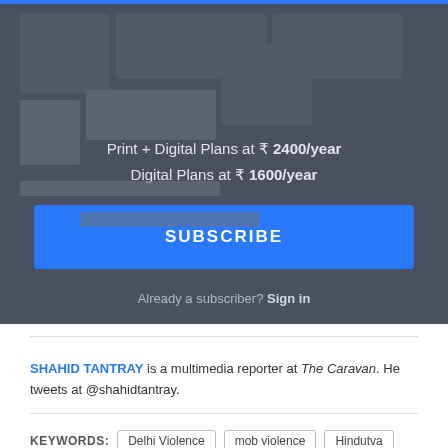[Figure (screenshot): Blurred/obscured article images in dark background]
Print + Digital Plans at ₹ 2400/year
Digital Plans at ₹ 1600/year
SUBSCRIBE
Already a subscriber? Sign in
SHAHID TANTRAY is a multimedia reporter at The Caravan. He tweets at @shahidtantray.
KEYWORDS: Delhi Violence  mob violence  Hindutva